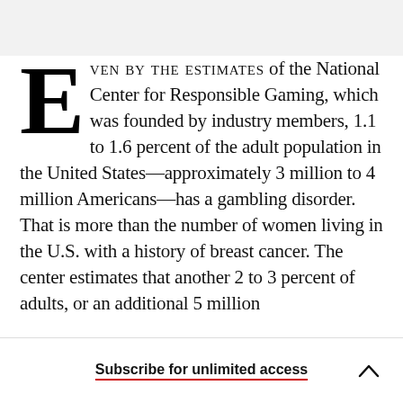Even by the estimates of the National Center for Responsible Gaming, which was founded by industry members, 1.1 to 1.6 percent of the adult population in the United States—approximately 3 million to 4 million Americans—has a gambling disorder. That is more than the number of women living in the U.S. with a history of breast cancer. The center estimates that another 2 to 3 percent of adults, or an additional 5 million
Subscribe for unlimited access